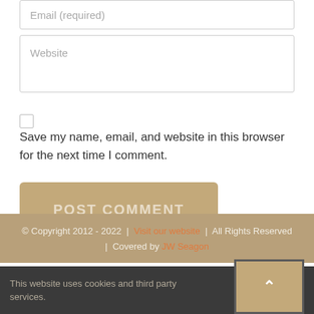Email (required)
Website
Save my name, email, and website in this browser for the next time I comment.
POST COMMENT
© Copyright 2012 - 2022  |  Visit our website  |  All Rights Reserved  |  Covered by JW Seagon
This website uses cookies and third party services.